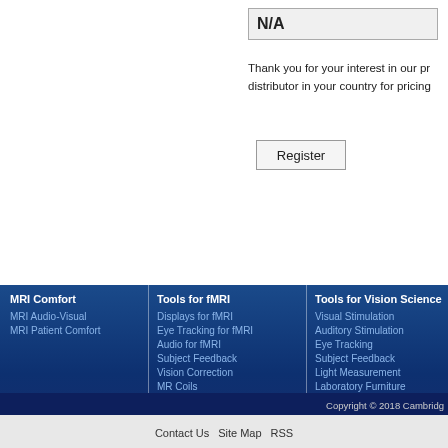N/A
Thank you for your interest in our pr distributor in your country for pricing
Register
MRI Comfort
MRI Audio-Visual
MRI Patient Comfort
Tools for fMRI
Displays for fMRI
Eye Tracking for fMRI
Audio for fMRI
Subject Feedback
Vision Correction
MR Coils
Software Tools
Tools for Vision Science
Visual Stimulation
Auditory Stimulation
Eye Tracking
Subject Feedback
Light Measurement
Laboratory Furniture
Universal Design
Copyright © 2018 Cambridg
Contact Us   Site Map   RSS